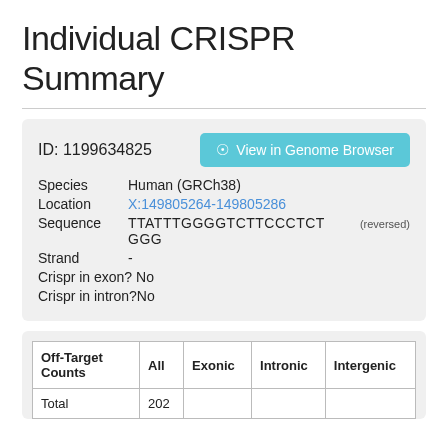Individual CRISPR Summary
ID: 1199634825
View in Genome Browser
Species   Human (GRCh38)
Location   X:149805264-149805286
Sequence   TTATTTGGGGTCTTCCCTCT GGG (reversed)
Strand   -
Crispr in exon? No
Crispr in intron?No
| Off-Target Counts | All | Exonic | Intronic | Intergenic |
| --- | --- | --- | --- | --- |
| Total | 202 |  |  |  |